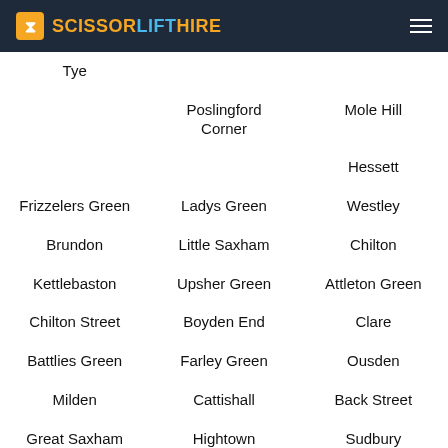SCISSORLIFTHIRE
Tye
Poslingford Corner
Mole Hill
Hessett
Frizzelers Green
Ladys Green
Westley
Brundon
Little Saxham
Chilton
Kettlebaston
Upsher Green
Attleton Green
Chilton Street
Boyden End
Clare
Battlies Green
Farley Green
Ousden
Milden
Cattishall
Back Street
Great Saxham
Hightown
Sudbury